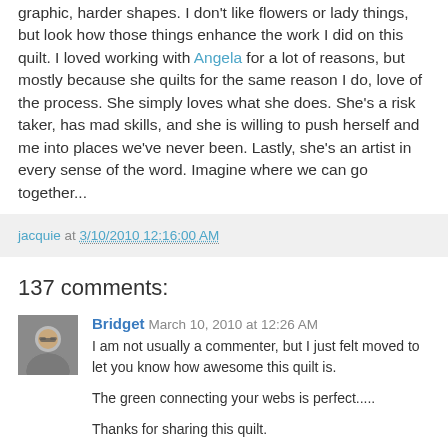graphic, harder shapes. I don't like flowers or lady things, but look how those things enhance the work I did on this quilt. I loved working with Angela for a lot of reasons, but mostly because she quilts for the same reason I do, love of the process. She simply loves what she does. She's a risk taker, has mad skills, and she is willing to push herself and me into places we've never been. Lastly, she's an artist in every sense of the word. Imagine where we can go together...
jacquie at 3/10/2010 12:16:00 AM
137 comments:
[Figure (photo): Small avatar photo of a woman with glasses]
Bridget March 10, 2010 at 12:26 AM
I am not usually a commenter, but I just felt moved to let you know how awesome this quilt is.

The green connecting your webs is perfect.....

Thanks for sharing this quilt.